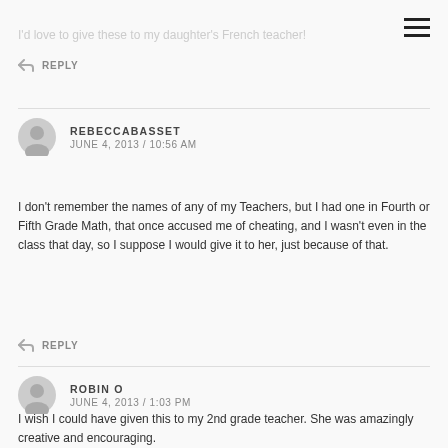I'd love to give these to my daughter's French teacher!
↩ REPLY
REBECCABASSET
JUNE 4, 2013 / 10:56 AM
I don't remember the names of any of my Teachers, but I had one in Fourth or Fifth Grade Math, that once accused me of cheating, and I wasn't even in the class that day, so I suppose I would give it to her, just because of that.
↩ REPLY
ROBIN O
JUNE 4, 2013 / 1:03 PM
I wish I could have given this to my 2nd grade teacher. She was amazingly creative and encouraging.